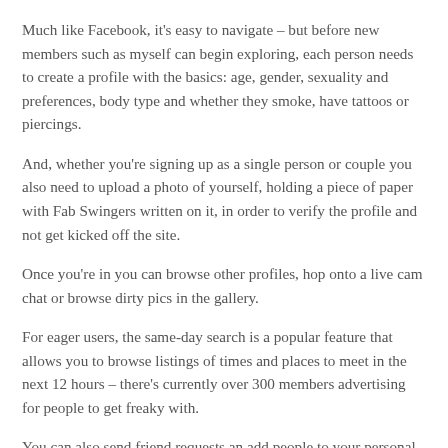Much like Facebook, it's easy to navigate – but before new members such as myself can begin exploring, each person needs to create a profile with the basics: age, gender, sexuality and preferences, body type and whether they smoke, have tattoos or piercings.
And, whether you're signing up as a single person or couple you also need to upload a photo of yourself, holding a piece of paper with Fab Swingers written on it, in order to verify the profile and not get kicked off the site.
Once you're in you can browse other profiles, hop onto a live cam chat or browse dirty pics in the gallery.
For eager users, the same-day search is a popular feature that allows you to browse listings of times and places to meet in the next 12 hours – there's currently over 300 members advertising for people to get freaky with.
You can also send friend requests an add people to your personal 'Hot List' – which is a bit like a top friends list, for people you fancy